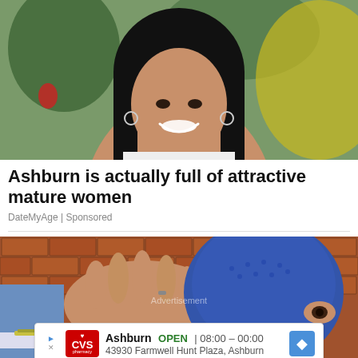[Figure (photo): Photo of a smiling young woman with long dark hair, wearing hoop earrings and a white top, against a green background]
Ashburn is actually full of attractive mature women
DateMyAge | Sponsored
[Figure (photo): News photo showing a hand covering a woman's face, woman wearing a blue head covering, with The Print logo badge in top right corner. Advertisement overlay at bottom showing CVS Pharmacy ad: Ashburn OPEN 08:00 – 00:00, 43930 Farmwell Hunt Plaza, Ashburn]